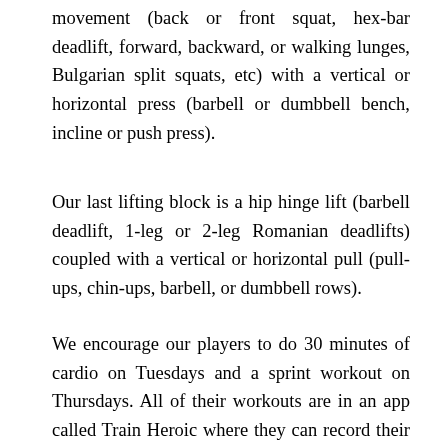movement (back or front squat, hex-bar deadlift, forward, backward, or walking lunges, Bulgarian split squats, etc) with a vertical or horizontal press (barbell or dumbbell bench, incline or push press).
Our last lifting block is a hip hinge lift (barbell deadlift, 1-leg or 2-leg Romanian deadlifts) coupled with a vertical or horizontal pull (pull-ups, chin-ups, barbell, or dumbbell rows).
We encourage our players to do 30 minutes of cardio on Tuesdays and a sprint workout on Thursdays. All of their workouts are in an app called Train Heroic where they can record their weights, reps, times, and other